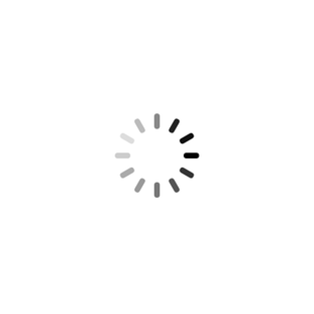[Figure (other): A loading spinner icon centered on a white background. The spinner consists of radial line segments arranged in a circle, varying in opacity from dark (nearly black) at the top-right to light gray at the bottom-left, suggesting rotation. The lines are thick rounded rectangles arranged like clock hands at each hour position.]